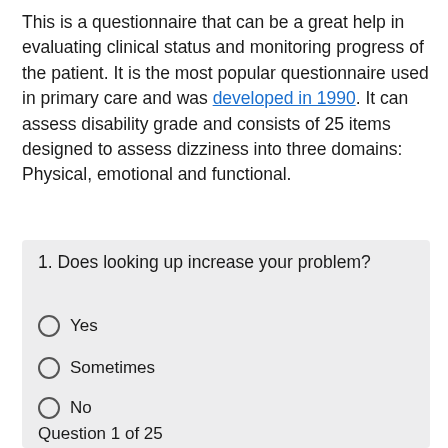This is a questionnaire that can be a great help in evaluating clinical status and monitoring progress of the patient. It is the most popular questionnaire used in primary care and was developed in 1990. It can assess disability grade and consists of 25 items designed to assess dizziness into three domains: Physical, emotional and functional.
1. Does looking up increase your problem?
Yes
Sometimes
No
Question 1 of 25